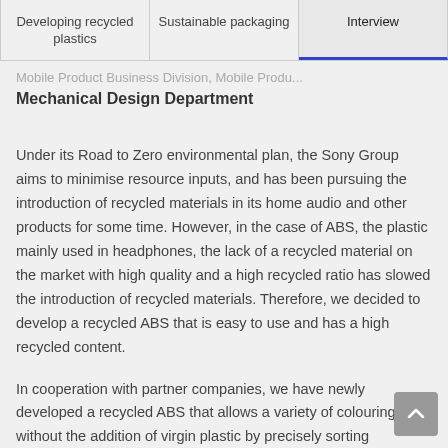Developing recycled plastics | Sustainable packaging | Interview
Mobile Product Business Division, Mobile Product Mechanical Design Department
Under its Road to Zero environmental plan, the Sony Group aims to minimise resource inputs, and has been pursuing the introduction of recycled materials in its home audio and other products for some time. However, in the case of ABS, the plastic mainly used in headphones, the lack of a recycled material on the market with high quality and a high recycled ratio has slowed the introduction of recycled materials. Therefore, we decided to develop a recycled ABS that is easy to use and has a high recycled content.
In cooperation with partner companies, we have newly developed a recycled ABS that allows a variety of colouring without the addition of virgin plastic by precisely sorting unpigmented ABS scrap material by colour. With LinkBuds, we